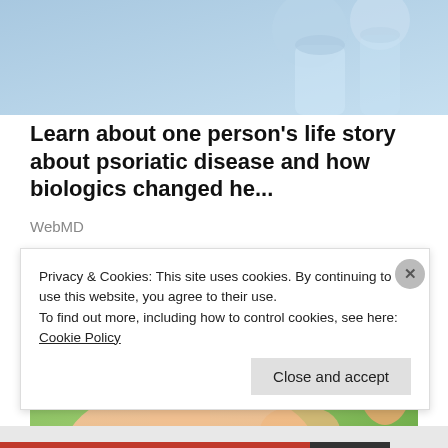[Figure (photo): Blue-toned photo of medical vials/syringes on blue background]
Learn about one person's life story about psoriatic disease and how biologics changed he...
WebMD
[Figure (photo): Close-up photo of a cream or ointment tube being applied to fingertip, with green background]
Privacy & Cookies: This site uses cookies. By continuing to use this website, you agree to their use.
To find out more, including how to control cookies, see here: Cookie Policy
Close and accept